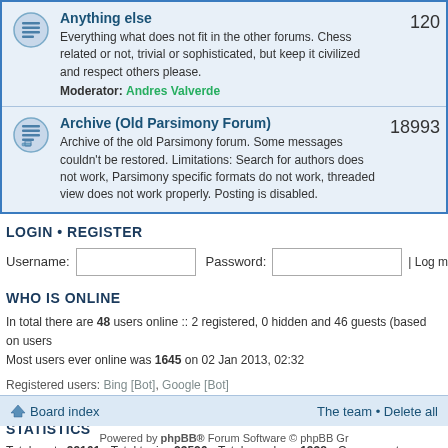| Forum | Description | Posts |
| --- | --- | --- |
| Anything else | Everything what does not fit in the other forums. Chess related or not, trivial or sophisticated, but keep it civilized and respect others please. Moderator: Andres Valverde | 120 |
| Archive (Old Parsimony Forum) | Archive of the old Parsimony forum. Some messages couldn't be restored. Limitations: Search for authors does not work, Parsimony specific formats do not work, threaded view does not work properly. Posting is disabled. | 18993 |
LOGIN • REGISTER
Username: [input] Password: [input] | Log me on autom
WHO IS ONLINE
In total there are 48 users online :: 2 registered, 0 hidden and 46 guests (based on users
Most users ever online was 1645 on 02 Jan 2013, 02:32
Registered users: Bing [Bot], Google [Bot]
Legend: Administrators, Global moderators
STATISTICS
Total posts 99161 • Total topics 23526 • Total members 1938 • Our newest member tyme
Board index  The team • Delete all  Powered by phpBB® Forum Software © phpBB Gr